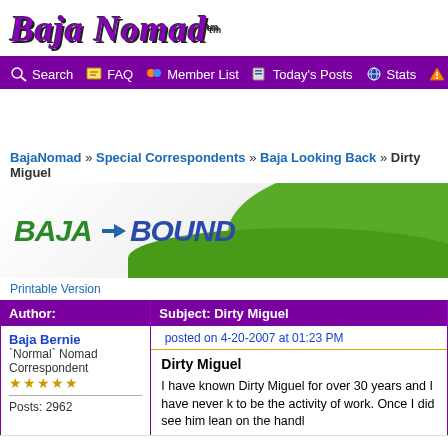[Figure (logo): Baja Nomad logo with stylized purple italic text and TM mark]
Search  FAQ  Member List  Today's Posts  Stats  Board Rules
BajaNomad » Special Correspondents » Baja Looking Back » Dirty Miguel
[Figure (logo): Baja Bound advertisement banner with green wave design]
Printable Version
| Author: | Subject: Dirty Miguel |
| --- | --- |
| Baja Bernie
`Normal` Nomad Correspondent
★★★★★

Posts: 2962 | posted on 4-20-2007 at 01:23 PM

Dirty Miguel

I have known Dirty Miguel for over 30 years and I have never k... to be the activity of work. Once I did see him lean on the handl... |